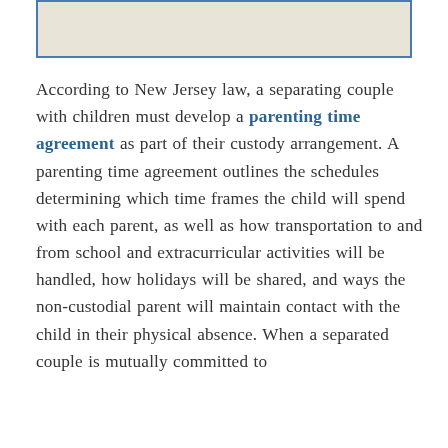[Figure (photo): Partial image of a document or scene, cropped at top of page, shown with a blue border frame.]
According to New Jersey law, a separating couple with children must develop a parenting time agreement as part of their custody arrangement. A parenting time agreement outlines the schedules determining which time frames the child will spend with each parent, as well as how transportation to and from school and extracurricular activities will be handled, how holidays will be shared, and ways the non-custodial parent will maintain contact with the child in their physical absence. When a separated couple is mutually committed to